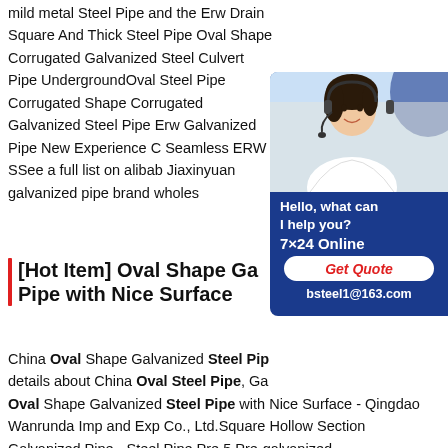mild metal Steel Pipe and the Erw Drain Square And Thick Steel Pipe Oval Shape Corrugated Galvanized Steel Culvert Pipe UndergroundOval Steel Pipe Corrugated Shape Corrugated Galvanized Steel Pipe Erw Galvanized Pipe New Experience Seamless ERW SSee a full list on alibab Jiaxinyuan galvanized pipe brand wholes
[Figure (other): Chat widget with customer service representative photo, Hello what can I help you? 7x24 Online, Get Quote button, bsteel1@163.com]
[Hot Item] Oval Shape Ga Pipe with Nice Surface
China Oval Shape Galvanized Steel Pip details about China Oval Steel Pipe, Ga Oval Shape Galvanized Steel Pipe with Nice Surface - Qingdao Wanrunda Imp and Exp Co., Ltd.Square Hollow Section Galvanized Pipe - Steel Pipe,Pre 5.Pre-galvanized square/rectangular/round pipe,cold rolled black annealed or bright finished pipe.6.Spiral steel pipe.7.Seamless pipe (ASTM